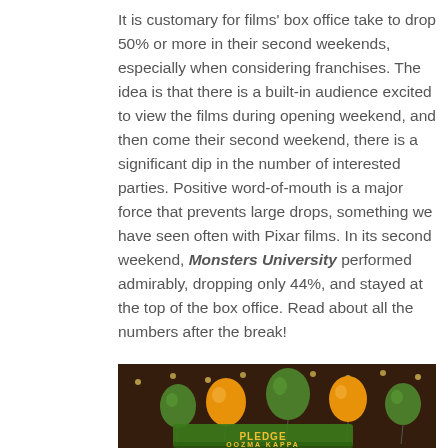It is customary for films' box office take to drop 50% or more in their second weekends, especially when considering franchises. The idea is that there is a built-in audience excited to view the films during opening weekend, and then come their second weekend, there is a significant dip in the number of interested parties. Positive word-of-mouth is a major force that prevents large drops, something we have seen often with Pixar films. In its second weekend, Monsters University performed admirably, dropping only 44%, and stayed at the top of the box office. Read about all the numbers after the break!
[Figure (photo): Scene from Monsters University showing green and orange balloons and a sign reading 'Pledge Oozma Kappa' in the background.]